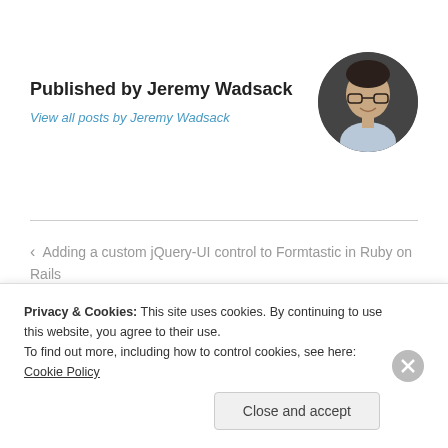Published by Jeremy Wadsack
View all posts by Jeremy Wadsack
[Figure (photo): Circular profile photo of Jeremy Wadsack, a man with glasses and dark hair, wearing a light blue shirt, smiling against a dark background.]
< Adding a custom jQuery-UI control to Formtastic in Ruby on Rails
Chipotle and Black Bean Enchiladas >
Privacy & Cookies: This site uses cookies. By continuing to use this website, you agree to their use.
To find out more, including how to control cookies, see here: Cookie Policy
Close and accept